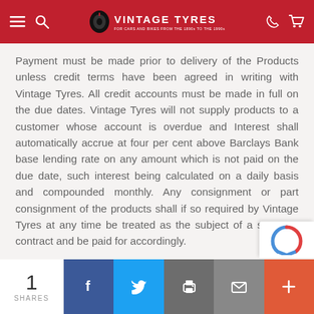VINTAGE TYRES — FOR CARS AND BIKES FROM THE 1890s TO THE 1990s
Payment must be made prior to delivery of the Products unless credit terms have been agreed in writing with Vintage Tyres. All credit accounts must be made in full on the due dates. Vintage Tyres will not supply products to a customer whose account is overdue and Interest shall automatically accrue at four per cent above Barclays Bank base lending rate on any amount which is not paid on the due date, such interest being calculated on a daily basis and compounded monthly. Any consignment or part consignment of the products shall if so required by Vintage Tyres at any time be treated as the subject of a separate contract and be paid for accordingly.
1 SHARES | Facebook | Twitter | Print | Email | More